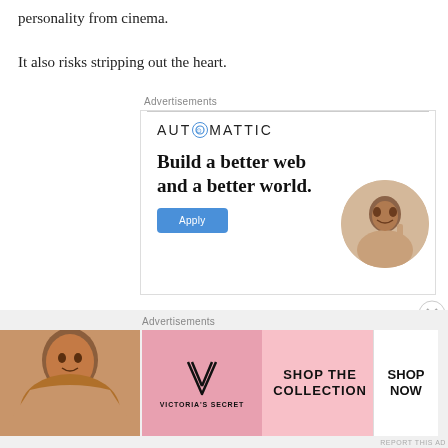personality from cinema.
It also risks stripping out the heart.
Advertisements
[Figure (illustration): Automattic advertisement: logo with compass icon, tagline 'Build a better web and a better world.', blue Apply button, photo of man thinking in circle]
REPORT THIS AD
Advertisements
[Figure (illustration): Victoria's Secret advertisement: woman photo on left, VS logo, SHOP THE COLLECTION text, SHOP NOW button on right]